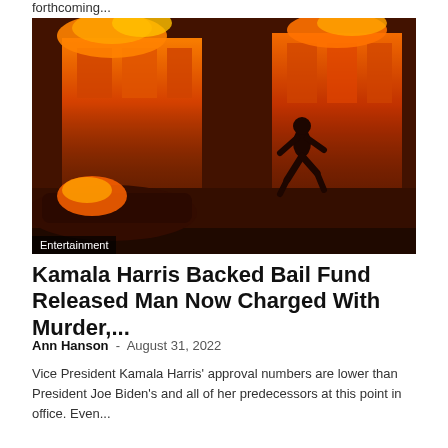forthcoming...
[Figure (photo): A silhouette of a person running in front of a large building fire at night, with burning vehicles in the foreground. An 'Entertainment' tag is overlaid on the lower-left of the image.]
Kamala Harris Backed Bail Fund Released Man Now Charged With Murder,...
Ann Hanson  -  August 31, 2022
Vice President Kamala Harris' approval numbers are lower than President Joe Biden's and all of her predecessors at this point in office. Even...